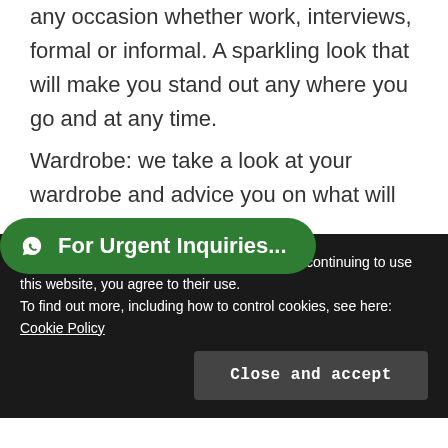any occasion whether work, interviews, formal or informal. A sparkling look that will make you stand out any where you go and at any time.
Wardrobe: we take a look at your wardrobe and advice you on what will
[Figure (other): Green WhatsApp button overlay with text 'For Urgent Inquiries...']
Makeup: We teach you how to apply the best makeup for any occasion from vintage to bridal day or smoky look
Privacy & Cookies: This site uses cookies. By continuing to use this website, you agree to their use.
To find out more, including how to control cookies, see here: Cookie Policy
Close and accept